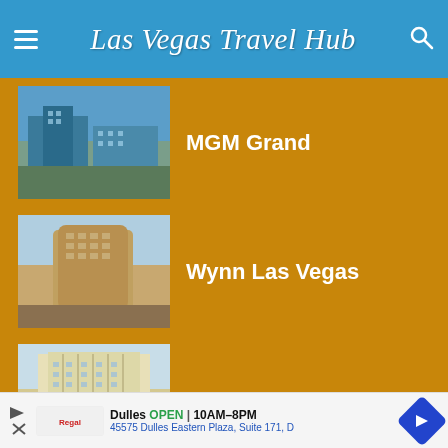Las Vegas Travel Hub
MGM Grand
Wynn Las Vegas
Bellagio Las Vegas
Top Shows
David Copperfield
Penn & Teller
[Figure (infographic): Advertisement banner: Dulles store, OPEN 10AM-8PM, 45575 Dulles Eastern Plaza, Suite 171, D]